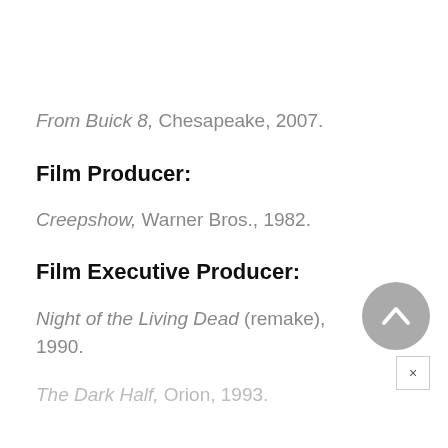From Buick 8, Chesapeake, 2007.
Film Producer:
Creepshow, Warner Bros., 1982.
Film Executive Producer:
Night of the Living Dead (remake), 1990.
The Dark Half, Orion, 1993.